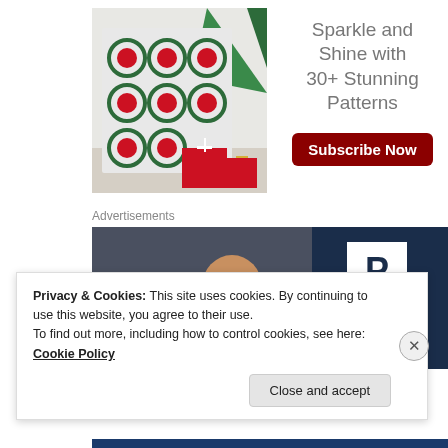[Figure (photo): Photo of a red and green crocheted blanket draped over a white chair near a Christmas tree with wrapped gifts]
Sparkle and Shine with 30+ Stunning Patterns
Subscribe Now
Advertisements
[Figure (photo): Advertisement for WordPress Hosting showing a smiling woman and a P logo on dark navy background]
Privacy & Cookies: This site uses cookies. By continuing to use this website, you agree to their use.
To find out more, including how to control cookies, see here: Cookie Policy
Close and accept